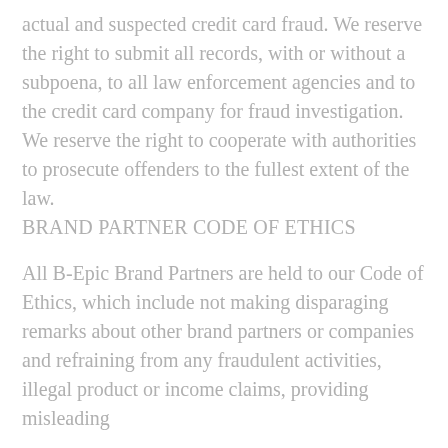actual and suspected credit card fraud. We reserve the right to submit all records, with or without a subpoena, to all law enforcement agencies and to the credit card company for fraud investigation. We reserve the right to cooperate with authorities to prosecute offenders to the fullest extent of the law.
BRAND PARTNER CODE OF ETHICS
All B-Epic Brand Partners are held to our Code of Ethics, which include not making disparaging remarks about other brand partners or companies and refraining from any fraudulent activities, illegal product or income claims, providing misleading